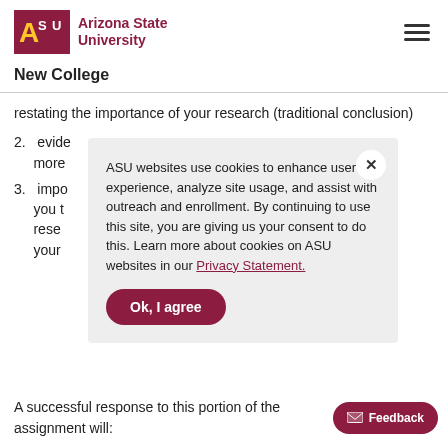ASU Arizona State University
New College
restating the importance of your research (traditional conclusion)
2. evide... more...
3. impo... you t... rese... your...
ASU websites use cookies to enhance user experience, analyze site usage, and assist with outreach and enrollment. By continuing to use this site, you are giving us your consent to do this. Learn more about cookies on ASU websites in our Privacy Statement.
A successful response to this portion of the assignment will: